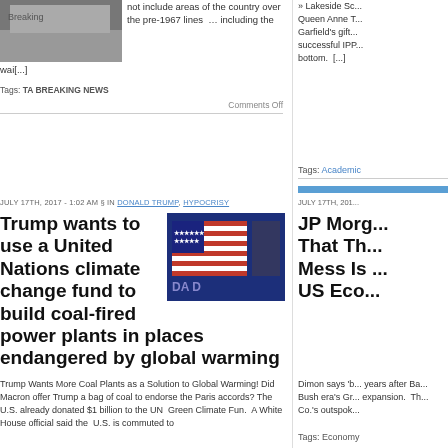[Figure (photo): Partial image at top left, appears to be a truck or vehicle]
not include areas of the country over the pre-1967 lines … including the
wai[...]
Tags: TA BREAKING NEWS
Comments Off
» Lakeside Sc... Queen Anne T... Garfield's gift... successful IPP... bottom. [...]
Tags: Academic
JULY 17TH, 2017 - 1:02 AM § IN DONALD TRUMP, HYPOCRISY
Trump wants to use a United Nations climate change fund to build coal-fired power plants in places endangered by global warming
[Figure (photo): American flag image with blue background and text 'DA D']
Trump Wants More Coal Plants as a Solution to Global Warming! Did Macron offer Trump a bag of coal to endorse the Paris accords? The U.S. already donated $1 billion to the UN Green Climate Fun. A White House official said the U.S. is commuted to
JULY 17TH, 201...
JP Morg... That Th... Mess Is ... US Eco...
Dimon says 'b... years after Ba... Bush era's Gr... expansion. Th... Co.'s outspok...
Tags: Economy